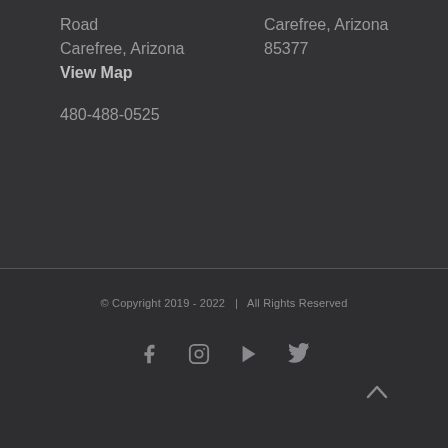Road
Carefree, Arizona
View Map
Carefree, Arizona
85377
480-488-0525
© Copyright 2019 - 2022  |  All Rights Reserved
[Figure (other): Social media icons: Facebook, Instagram, YouTube, Twitter]
^ (back to top arrow)